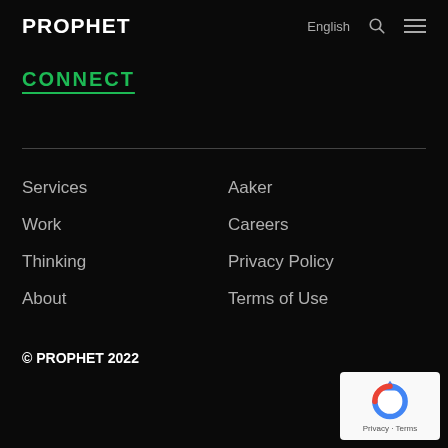PROPHET | English
CONNECT
Services
Work
Thinking
About
Aaker
Careers
Privacy Policy
Terms of Use
© PROPHET 2022
[Figure (logo): reCAPTCHA badge with 'Privacy · Terms' text]